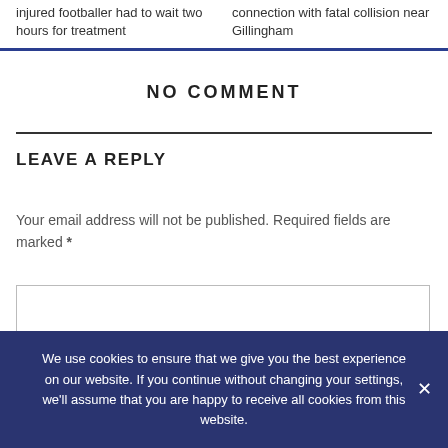injured footballer had to wait two hours for treatment
connection with fatal collision near Gillingham
NO COMMENT
LEAVE A REPLY
Your email address will not be published. Required fields are marked *
We use cookies to ensure that we give you the best experience on our website. If you continue without changing your settings, we'll assume that you are happy to receive all cookies from this website.